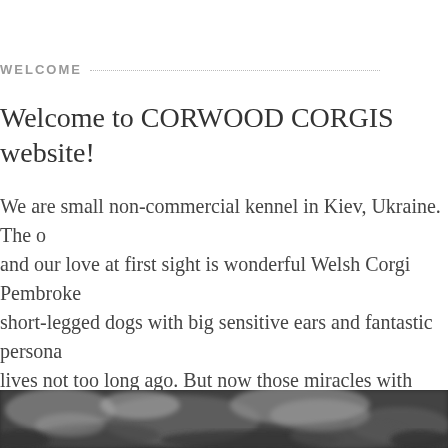WELCOME
Welcome to CORWOOD CORGIS website!
We are small non-commercial kennel in Kiev, Ukraine. The o... and our love at first sight is wonderful Welsh Corgi Pembroke short-legged dogs with big sensitive ears and fantastic persona... lives not too long ago. But now those miracles with paws have... amazing part in our small “universe”.
[Figure (photo): Black and white photo strip at the bottom of the page showing a blurred outdoor scene]